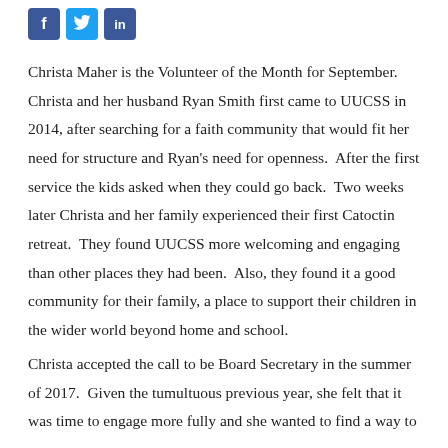[Figure (other): Three social media icon buttons: Facebook (blue square), Twitter (light blue square), LinkedIn or share (blue square)]
Christa Maher is the Volunteer of the Month for September. Christa and her husband Ryan Smith first came to UUCSS in 2014, after searching for a faith community that would fit her need for structure and Ryan's need for openness. After the first service the kids asked when they could go back. Two weeks later Christa and her family experienced their first Catoctin retreat. They found UUCSS more welcoming and engaging than other places they had been. Also, they found it a good community for their family, a place to support their children in the wider world beyond home and school.
Christa accepted the call to be Board Secretary in the summer of 2017. Given the tumultuous previous year, she felt that it was time to engage more fully and she wanted to find a way to